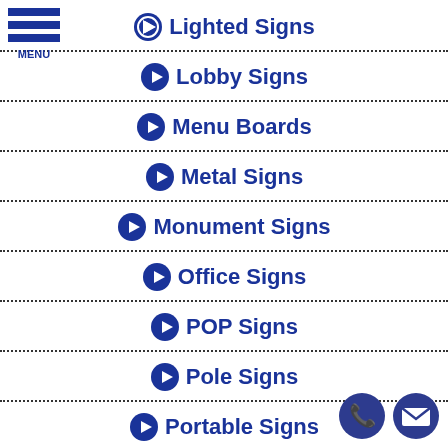[Figure (other): Hamburger menu icon with three blue horizontal bars and MENU label]
Lighted Signs
Lobby Signs
Menu Boards
Metal Signs
Monument Signs
Office Signs
POP Signs
Pole Signs
Portable Signs
[Figure (other): Two circular contact icons: phone and email, dark navy blue]